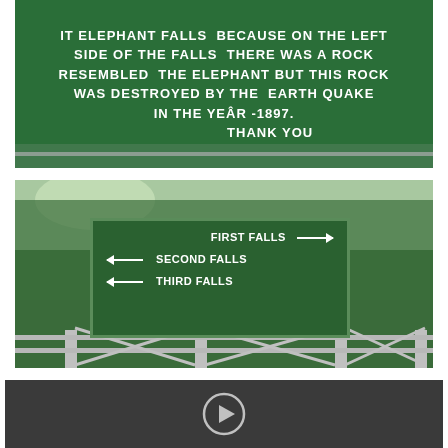[Figure (photo): Green sign board reading: IT ELEPHANT FALLS BECAUSE ON THE LEFT SIDE OF THE FALLS THERE WAS A ROCK RESEMBLED THE ELEPHANT BUT THIS ROCK WAS DESTROYED BY THE EARTH QUAKE IN THE YEAR 1897. THANK YOU. White fence/railing visible at bottom.]
[Figure (photo): Green directional sign board with trees in background showing: FIRST FALLS with right arrow, SECOND FALLS with left arrow, THIRD FALLS with left arrow. White metal fence/railing in foreground.]
[Figure (screenshot): Dark video player with play button (circle with triangle) in the center on a dark gray/black background.]